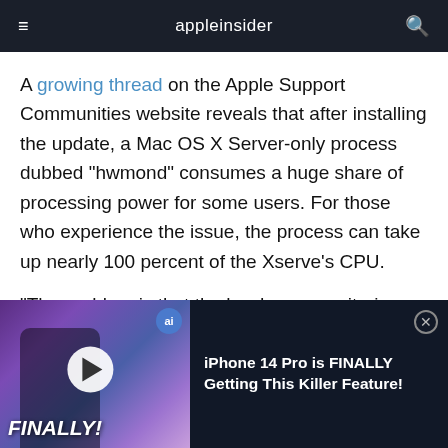appleinsider
A growing thread on the Apple Support Communities website reveals that after installing the update, a Mac OS X Server-only process dubbed "hwmond" consumes a huge share of processing power for some users. For those who experience the issue, the process can take up nearly 100 percent of the Xserve's CPU.
"The problem is that the hardware monitoring
[Figure (screenshot): Video ad thumbnail showing a person holding an iPhone with purple/blue gradient background and text FINALLY! overlaid. An 'ai' badge is in the top right corner and a white play button is centered.]
iPhone 14 Pro is FINALLY Getting This Killer Feature!